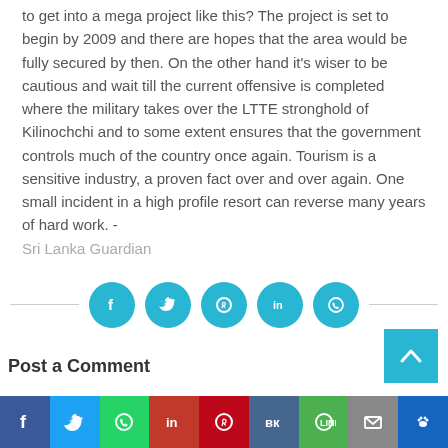to get into a mega project like this? The project is set to begin by 2009 and there are hopes that the area would be fully secured by then. On the other hand it's wiser to be cautious and wait till the current offensive is completed where the military takes over the LTTE stronghold of Kilinochchi and to some extent ensures that the government controls much of the country once again. Tourism is a sensitive industry, a proven fact over and over again. One small incident in a high profile resort can reverse many years of hard work. - Sri Lanka Guardian
[Figure (infographic): Social share buttons row: Facebook, Twitter, Pinterest, LinkedIn, WhatsApp icons in teal circles with horizontal lines on either side]
Post a Comment
[Figure (infographic): Back to top button (teal, with up arrow) in the bottom right area]
Facebook | Twitter | WhatsApp | LinkedIn | Pinterest | VK | LINE | Email | Paw